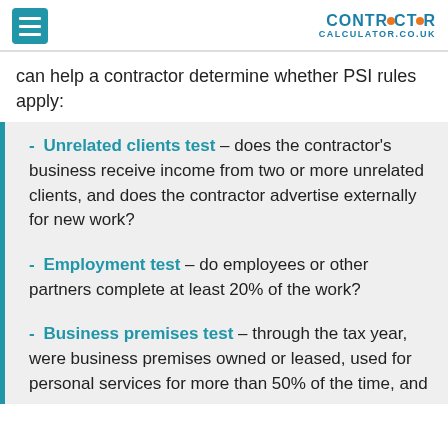CONTRACTOR CALCULATOR.CO.UK
can help a contractor determine whether PSI rules apply:
Unrelated clients test – does the contractor's business receive income from two or more unrelated clients, and does the contractor advertise externally for new work?
Employment test – do employees or other partners complete at least 20% of the work?
Business premises test – through the tax year, were business premises owned or leased, used for personal services for more than 50% of the time, and...